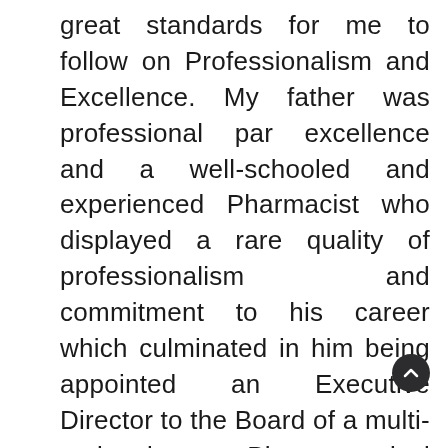great standards for me to follow on Professionalism and Excellence. My father was professional par excellence and a well-schooled and experienced Pharmacist who displayed a rare quality of professionalism and commitment to his career which culminated in him being appointed an Executive Director to the Board of a multi-national Pharmaceutical company by the age of 40. This achievement had set the tone for me in my career to be the best. Also, huge source of inspiration comes from